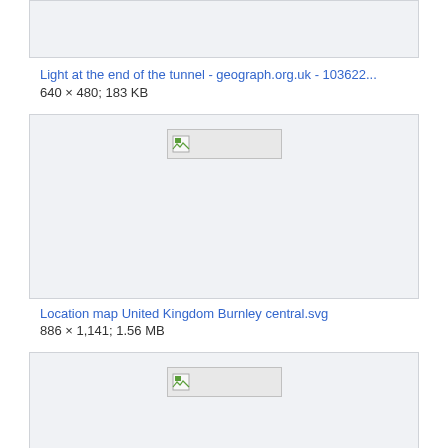[Figure (screenshot): Partial image thumbnail box, cropped at top, light gray background with border]
Light at the end of the tunnel - geograph.org.uk - 103622...
640 × 480; 183 KB
[Figure (screenshot): Image thumbnail box with broken image icon placeholder, light gray background with border]
Location map United Kingdom Burnley central.svg
886 × 1,141; 1.56 MB
[Figure (screenshot): Image thumbnail box with broken image icon placeholder, light gray background with border, partially visible]